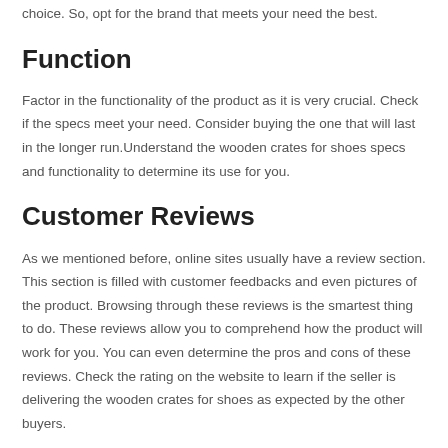choice. So, opt for the brand that meets your need the best.
Function
Factor in the functionality of the product as it is very crucial. Check if the specs meet your need. Consider buying the one that will last in the longer run.Understand the wooden crates for shoes specs and functionality to determine its use for you.
Customer Reviews
As we mentioned before, online sites usually have a review section. This section is filled with customer feedbacks and even pictures of the product. Browsing through these reviews is the smartest thing to do. These reviews allow you to comprehend how the product will work for you. You can even determine the pros and cons of these reviews. Check the rating on the website to learn if the seller is delivering the wooden crates for shoes as expected by the other buyers.